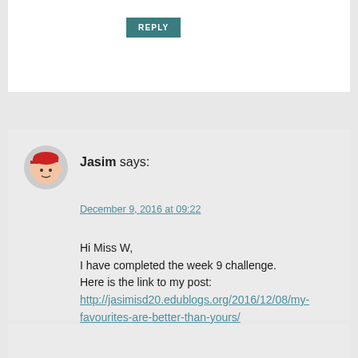REPLY
Jasim says:
December 9, 2016 at 09:22
Hi Miss W,
I have completed the week 9 challenge.
Here is the link to my post:
http://jasimisd20.edublogs.org/2016/12/08/my-favourites-are-better-than-yours/
REPLY